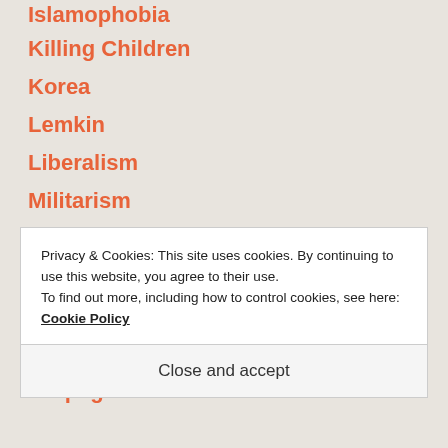Islamophobia
Killing Children
Korea
Lemkin
Liberalism
Militarism
Neocolonialism
Neoliberalism
Orthodoxy
Palestine
Propaganda
Privacy & Cookies: This site uses cookies. By continuing to use this website, you agree to their use. To find out more, including how to control cookies, see here: Cookie Policy
Close and accept